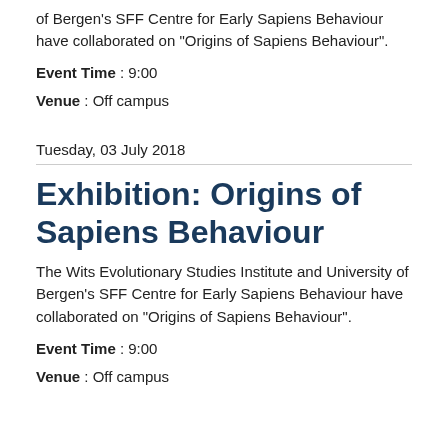of Bergen's SFF Centre for Early Sapiens Behaviour have collaborated on "Origins of Sapiens Behaviour".
Event Time : 9:00
Venue : Off campus
Tuesday, 03 July 2018
Exhibition: Origins of Sapiens Behaviour
The Wits Evolutionary Studies Institute and University of Bergen's SFF Centre for Early Sapiens Behaviour have collaborated on "Origins of Sapiens Behaviour".
Event Time : 9:00
Venue : Off campus